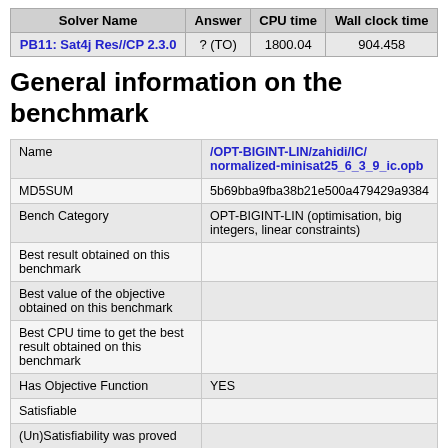| Solver Name | Answer | CPU time | Wall clock time |
| --- | --- | --- | --- |
| PB11: Sat4j Res//CP 2.3.0 | ? (TO) | 1800.04 | 904.458 |
General information on the benchmark
|  |  |
| --- | --- |
| Name | /OPT-BIGINT-LIN/zahidi/IC/normalized-minisat25_6_3_9_ic.opb |
| MD5SUM | 5b69bba9fba38b21e500a479429a9384 |
| Bench Category | OPT-BIGINT-LIN (optimisation, big integers, linear constraints) |
| Best result obtained on this benchmark |  |
| Best value of the objective obtained on this benchmark |  |
| Best CPU time to get the best result obtained on this benchmark |  |
| Has Objective Function | YES |
| Satisfiable |  |
| (Un)Satisfiability was proved |  |
| Best value of the objective function |  |
| Optimality of the best value was proved |  |
| Number of variables | 15725 |